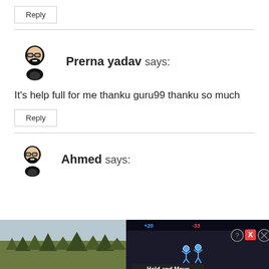Reply
Prerna yadav says:
It's help full for me thanku guru99 thanku so much
Reply
Ahmed says:
[Figure (screenshot): Advertisement banner showing a mobile game 'Hold and Move' with a dark background, score bar at top, trees in background, and two stick figure icons.]